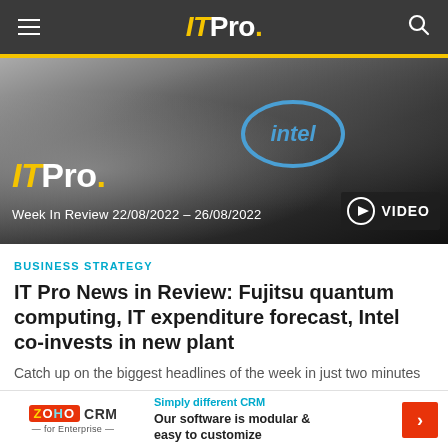IT Pro.
[Figure (photo): Hero image showing a person handling a microchip with Intel logo visible, overlaid with IT Pro. Week In Review 22/08/2022 - 26/08/2022 text and a VIDEO play button badge]
BUSINESS STRATEGY
IT Pro News in Review: Fujitsu quantum computing, IT expenditure forecast, Intel co-invests in new plant
Catch up on the biggest headlines of the week in just two minutes
26 Aug 2022
Simply different CRM
Our software is modular & easy to customize